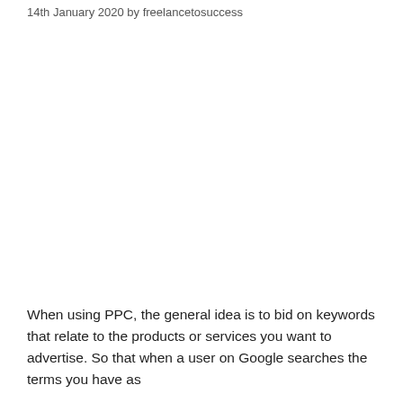14th January 2020 by freelancetosuccess
When using PPC, the general idea is to bid on keywords that relate to the products or services you want to advertise. So that when a user on Google searches the terms you have as